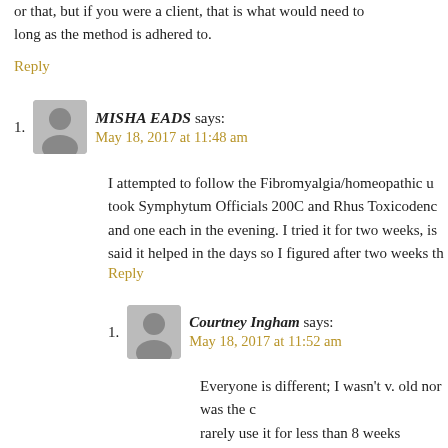or that, but if you were a client, that is what would need to long as the method is adhered to.
Reply
1. MISHA EADS says: May 18, 2017 at 11:48 am
I attempted to follow the Fibromyalgia/homeopathic u took Symphytum Officials 200C and Rhus Toxicodenc and one each in the evening. I tried it for two weeks, is said it helped in the days so I figured after two weeks th
Reply
1. Courtney Ingham says: May 18, 2017 at 11:52 am
Everyone is different; I wasn't v. old nor was the c rarely use it for less than 8 weeks fallowed by asses improvement, even in the slightest. If so, it contin assessed again. If there's no improvement at all, t overall gut conditions are considered or the diagn